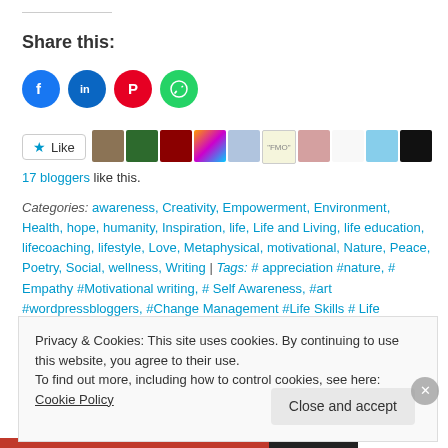Share this:
[Figure (infographic): Social share icon buttons: Facebook (blue circle), LinkedIn (blue circle), Pinterest (red circle), WhatsApp (green circle)]
[Figure (infographic): Like button with star icon, followed by a row of blogger avatar thumbnails]
17 bloggers like this.
Categories: awareness, Creativity, Empowerment, Environment, Health, hope, humanity, Inspiration, life, Life and Living, life education, lifecoaching, lifestyle, Love, Metaphysical, motivational, Nature, Peace, Poetry, Social, wellness, Writing | Tags: # appreciation #nature, # Empathy #Motivational writing, # Self Awareness, #art #wordpressbloggers, #Change Management #Life Skills # Life Coaching #
Privacy & Cookies: This site uses cookies. By continuing to use this website, you agree to their use. To find out more, including how to control cookies, see here: Cookie Policy
Close and accept